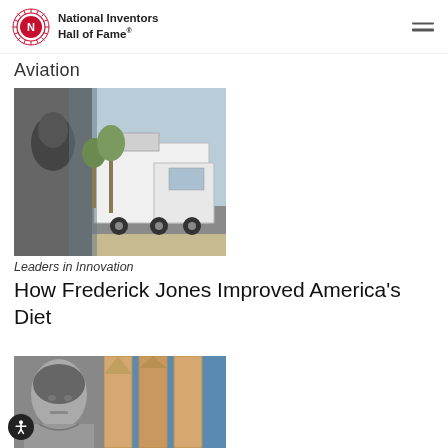National Inventors Hall of Fame®
Aviation
[Figure (photo): Composite image showing a black-and-white photo of a person on the left and a white refrigerated delivery truck on the right against a winter outdoor background]
Leaders in Innovation
How Frederick Jones Improved America's Diet
[Figure (photo): Photo of a woman in black and white on the left, with rockets or cylindrical objects on the right against a blue sky background]